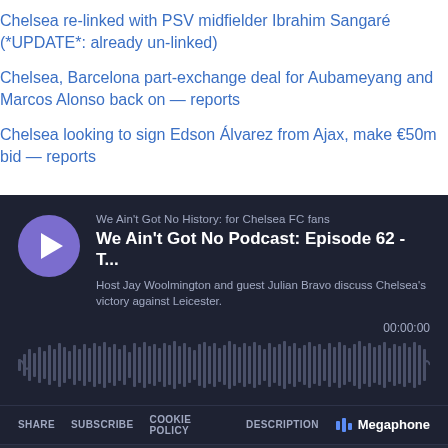Chelsea re-linked with PSV midfielder Ibrahim Sangaré (*UPDATE*: already un-linked)
Chelsea, Barcelona part-exchange deal for Aubameyang and Marcos Alonso back on — reports
Chelsea looking to sign Edson Álvarez from Ajax, make €50m bid — reports
[Figure (screenshot): Podcast widget for 'We Ain't Got No Podcast: Episode 62 - T...' on Megaphone platform, dark themed, showing play button, waveform, timer 00:00:00, share/subscribe/cookie policy/description controls, playlist with 62 episodes, and episode row showing 'We Ain't Got No Podcast: Episode 62 - ... 53 min']